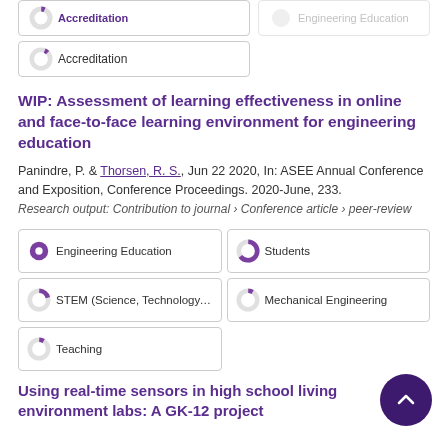6% Accreditation
WIP: Assessment of learning effectiveness in online and face-to-face learning environment for engineering education
Panindre, P. & Thorsen, R. S., Jun 22 2020, In: ASEE Annual Conference and Exposition, Conference Proceedings. 2020-June, 233.
Research output: Contribution to journal › Conference article › peer-review
100% Engineering Education
65% Students
20% STEM (Science, Technology, En…
8% Mechanical Engineering
8% Teaching
Using real-time sensors in high school living environment labs: A GK-12 project